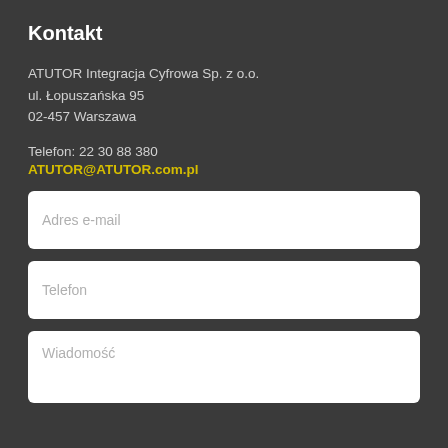Kontakt
ATUTOR Integracja Cyfrowa Sp. z o.o.
ul. Łopuszańska 95
02-457 Warszawa
Telefon: 22 30 88 380
ATUTOR@ATUTOR.com.pl
Adres e-mail
Telefon
Wiadomość